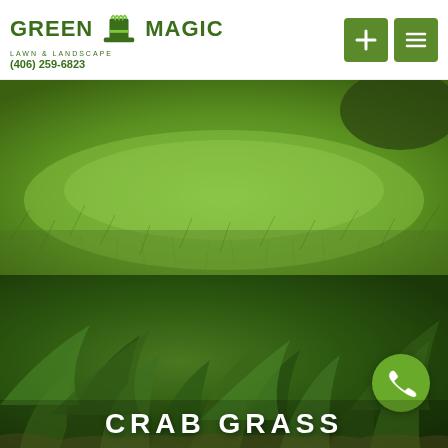GREEN MAGIC Lawn & Landscape (406) 259-6823
[Figure (photo): Close-up photo of a healthy green lawn grass, lush and even, with a curving edge visible against a darker background.]
[Figure (photo): Close-up photo of crab grass with broad dark green leaves spreading outward on a lawn.]
CRAB GRASS